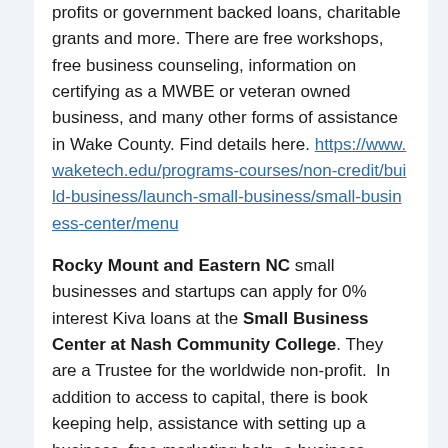clients to capital raising programs, including non-profits or government backed loans, charitable grants and more. There are free workshops, free business counseling, information on certifying as a MWBE or veteran owned business, and many other forms of assistance in Wake County. Find details here. https://www.waketech.edu/programs-courses/non-credit/build-business/launch-small-business/small-business-center/menu
Rocky Mount and Eastern NC small businesses and startups can apply for 0% interest Kiva loans at the Small Business Center at Nash Community College. They are a Trustee for the worldwide non-profit.  In addition to access to capital, there is book keeping help, assistance with setting up a business, free marketing help, a business resource center and other services. Read on the center here. https://www.nashcc.edu/about/community